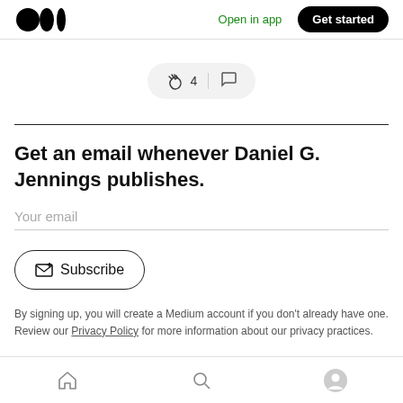Medium logo | Open in app | Get started
[Figure (infographic): Clapping hands emoji with count 4 and speech bubble icon in a pill-shaped button]
Get an email whenever Daniel G. Jennings publishes.
Your email
Subscribe
By signing up, you will create a Medium account if you don't already have one. Review our Privacy Policy for more information about our privacy practices.
Bottom navigation: Home, Search, Profile